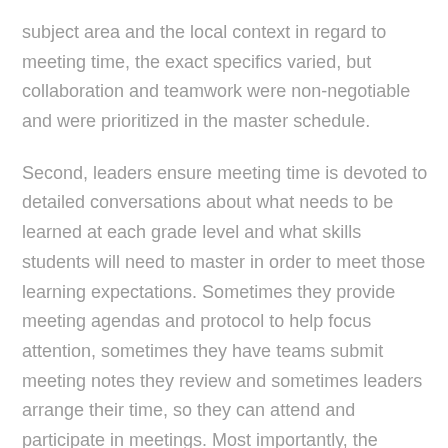subject area and the local context in regard to meeting time, the exact specifics varied, but collaboration and teamwork were non-negotiable and were prioritized in the master schedule.
Second, leaders ensure meeting time is devoted to detailed conversations about what needs to be learned at each grade level and what skills students will need to master in order to meet those learning expectations. Sometimes they provide meeting agendas and protocol to help focus attention, sometimes they have teams submit meeting notes they review and sometimes leaders arrange their time, so they can attend and participate in meetings. Most importantly, the expectation is teachers share and examine student work